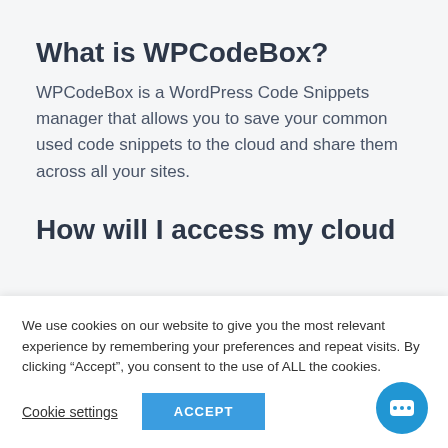What is WPCodeBox?
WPCodeBox is a WordPress Code Snippets manager that allows you to save your common used code snippets to the cloud and share them across all your sites.
How will I access my cloud
We use cookies on our website to give you the most relevant experience by remembering your preferences and repeat visits. By clicking “Accept”, you consent to the use of ALL the cookies.
Cookie settings
ACCEPT